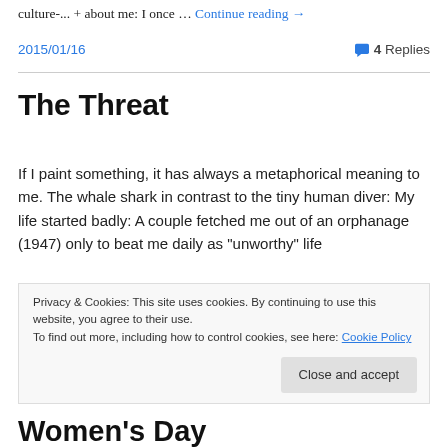culture-... + about me: I once … Continue reading →
2015/01/16   💬 4 Replies
The Threat
If I paint something, it has always a metaphorical meaning to me. The whale shark in contrast to the tiny human diver: My life started badly: A couple fetched me out of an orphanage (1947) only to beat me daily as "unworthy" life
Privacy & Cookies: This site uses cookies. By continuing to use this website, you agree to their use.
To find out more, including how to control cookies, see here: Cookie Policy
Close and accept
Women's Day